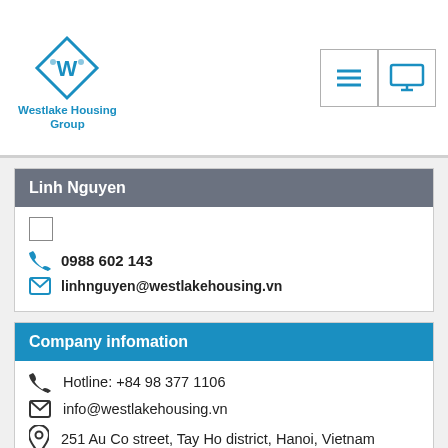Westlake Housing Group
Linh Nguyen
0988 602 143
linhnguyen@westlakehousing.vn
Company infomation
Hotline: +84 98 377 1106
info@westlakehousing.vn
251 Au Co street, Tay Ho district, Hanoi, Vietnam
westlakehousing.vn
Request a showing
Please complete the form below to request a showing for this property. We will review your request and respond to you as